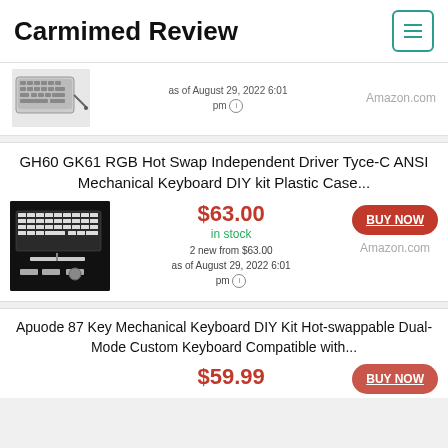Carmimed Review
[Figure (photo): Keyboard product image (partial, cropped at top)]
as of August 29, 2022 6:01 pm
Amazon.com
GH60 GK61 RGB Hot Swap Independent Driver Tyce-C ANSI Mechanical Keyboard DIY kit Plastic Case...
[Figure (photo): GH60 GK61 RGB mechanical keyboard DIY kit product photo on black background]
$63.00
in stock
2 new from $63.00
as of August 29, 2022 6:01 pm
Amazon.com
Apuode 87 Key Mechanical Keyboard DIY Kit Hot-swappable Dual-Mode Custom Keyboard Compatible with...
$59.99